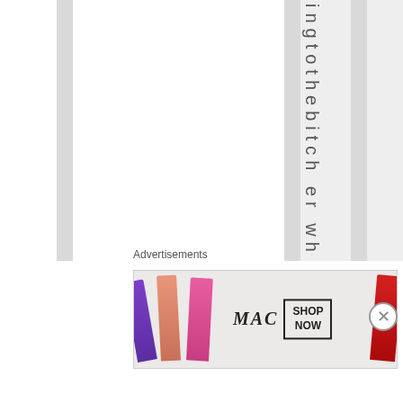[Figure (other): Page background with alternating white and gray vertical stripes, with vertical text reading 'ingtothebitch er wh' running down one of the columns]
Advertisements
[Figure (photo): MAC cosmetics advertisement banner showing lipsticks in purple, peach, pink colors on left, MAC logo in center, SHOP NOW button box, and red lipstick on right]